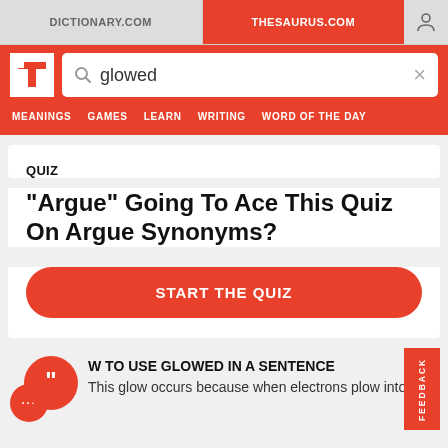DICTIONARY.COM | THESAURUS.COM
[Figure (screenshot): Search bar with 'glowed' query on Thesaurus.com]
MEANINGS  GAMES  LEARN  WRITING  WORD OF THE DAY
QUIZ
"Argue" Going To Ace This Quiz On Argue Synonyms?
START THE QUIZ
HOW TO USE GLOWED IN A SENTENCE
This glow occurs because when electrons plow into